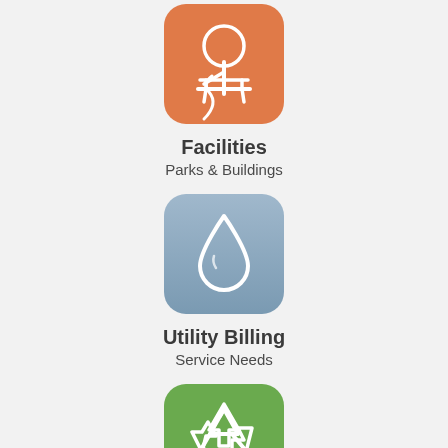[Figure (illustration): Orange rounded square icon with white park/tree and bench silhouette]
Facilities
Parks & Buildings
[Figure (illustration): Steel blue rounded square icon with white water droplet outline]
Utility Billing
Service Needs
[Figure (illustration): Green rounded square icon with white recycling arrows symbol]
Recycling
City Services
[Figure (illustration): Orange rounded square icon partially visible at bottom of page]